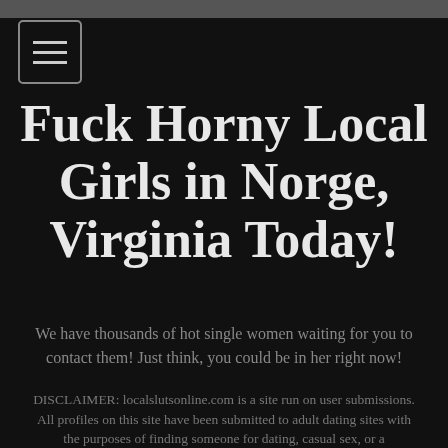Fuck Horny Local Girls in Norge, Virginia Today!
We have thousands of hot single women waiting for you to contact them! Just think, you could be in her right now!
DISCLAIMER: localslutsonline.com is a site run on user submissions. All profiles on this site have been submitted to adult dating sites with the purposes of finding someone for dating, casual sex, or a relationship. We simply display the profiles to help you find the local girl you are looking for. Some of these profiles may not be registered users and may be for illustrative purposes only. To report fraudulent